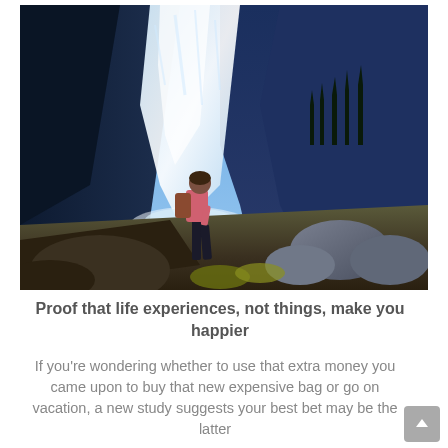[Figure (photo): A hiker standing on rocks in front of a large waterfall with mountains and blue sky in the background]
Proof that life experiences, not things, make you happier
If you're wondering whether to use that extra money you came upon to buy that new expensive bag or go on vacation, a new study suggests your best bet may be the latter